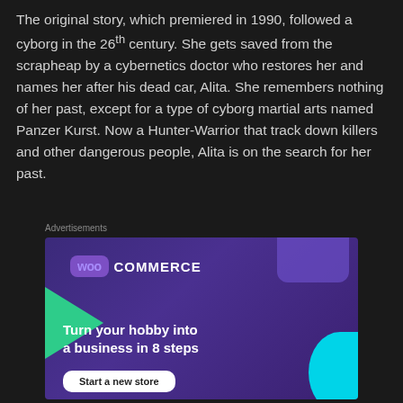The original story, which premiered in 1990, followed a cyborg in the 26th century. She gets saved from the scrapheap by a cybernetics doctor who restores her and names her after his dead car, Alita. She remembers nothing of her past, except for a type of cyborg martial arts named Panzer Kurst. Now a Hunter-Warrior that track down killers and other dangerous people, Alita is on the search for her past.
Advertisements
[Figure (illustration): WooCommerce advertisement banner with purple background, green triangle shape on left, cyan arc on right, WooCommerce logo at top, text 'Turn your hobby into a business in 8 steps', and a 'Start a new store' button.]